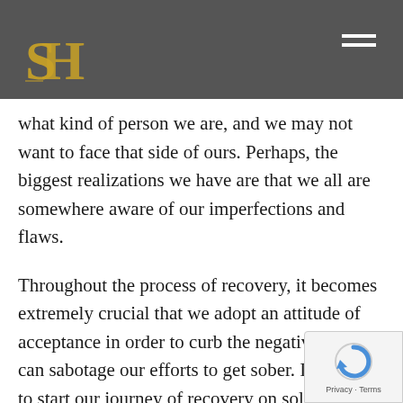When we enter the treatment process in solemn, there definitely are moments in which one feels uncertainty. We have many disclosures about
[Figure (logo): Ornate gold letter S with H overlaid logo on dark grey background]
what kind of person we are, and we may not want to face that side of ours. Perhaps, the biggest realizations we have are that we all are somewhere aware of our imperfections and flaws.
Throughout the process of recovery, it becomes extremely crucial that we adopt an attitude of acceptance in order to curb the negativity that can sabotage our efforts to get sober. If we are to start our journey of recovery on solid footing, we need to learn how to cultivate acceptance ourselves.